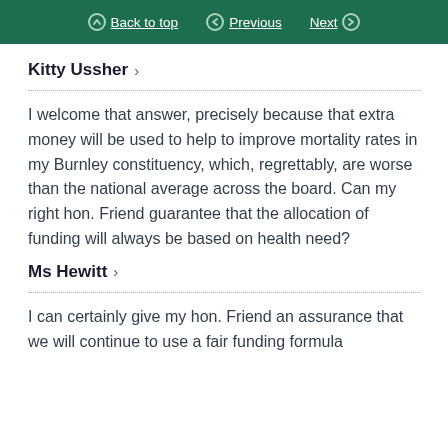Back to top   Previous   Next
Kitty Ussher
I welcome that answer, precisely because that extra money will be used to help to improve mortality rates in my Burnley constituency, which, regrettably, are worse than the national average across the board. Can my right hon. Friend guarantee that the allocation of funding will always be based on health need?
Ms Hewitt
I can certainly give my hon. Friend an assurance that we will continue to use a fair funding formula